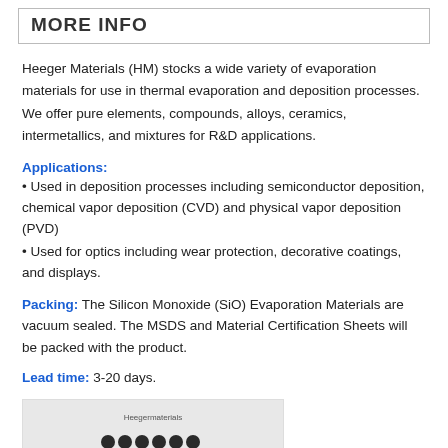MORE INFO
Heeger Materials (HM) stocks a wide variety of evaporation materials for use in thermal evaporation and deposition processes. We offer pure elements, compounds, alloys, ceramics, intermetallics, and mixtures for R&D applications.
Applications:
• Used in deposition processes including semiconductor deposition, chemical vapor deposition (CVD) and physical vapor deposition (PVD)
• Used for optics including wear protection, decorative coatings, and displays.
Packing: The Silicon Monoxide (SiO) Evaporation Materials are vacuum sealed. The MSDS and Material Certification Sheets will be packed with the product.
Lead time: 3-20 days.
[Figure (photo): Photo of Silicon Monoxide evaporation material product with Heeger Materials branding and small black pellets/granules visible]